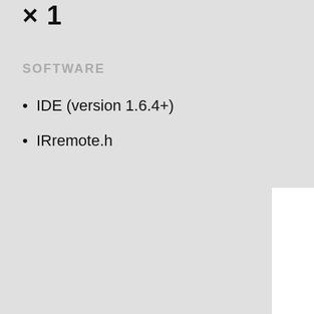× 1
SOFTWARE
IDE (version 1.6.4+)
IRremote.h